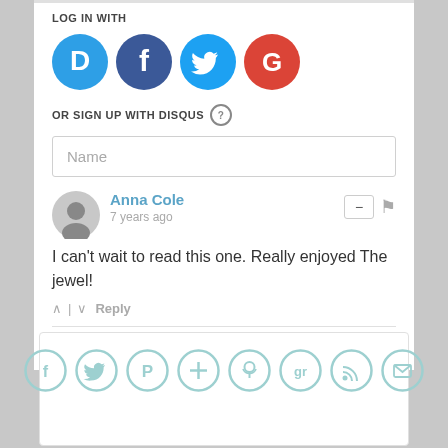LOG IN WITH
[Figure (illustration): Four social login icons: Disqus (blue circle with D), Facebook (dark blue circle with f), Twitter (light blue circle with bird), Google (red circle with G)]
OR SIGN UP WITH DISQUS ?
Name
Anna Cole
7 years ago
I can't wait to read this one. Really enjoyed The jewel!
^ | v  Reply
Subscribe  Do Not Sell My Data   DISQUS
[Figure (illustration): Eight teal social share icons in circles: Facebook, Twitter, Pinterest, Plus, Podcast, Goodreads, RSS, Email]